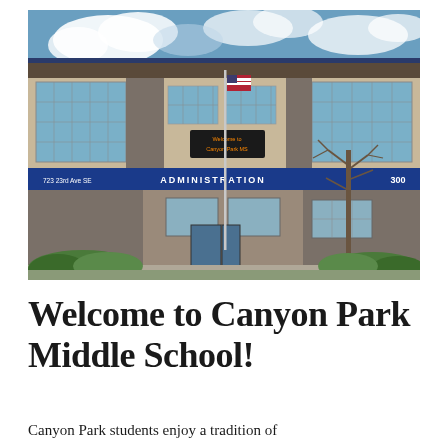[Figure (photo): Exterior photo of Canyon Park Middle School building. A two-story tan/beige building with blue accents and large gridded windows. A flagpole with an American flag is visible in front. A sign above the entrance reads 'Welcome to Canyon Park MS'. Blue awnings label the entrance area 'ADMINISTRATION 300'. There are shrubs and a bare deciduous tree near the entrance. Address signage reads '723 23rd Ave SE'. Blue sky with clouds in background.]
Welcome to Canyon Park Middle School!
Canyon Park students enjoy a tradition of